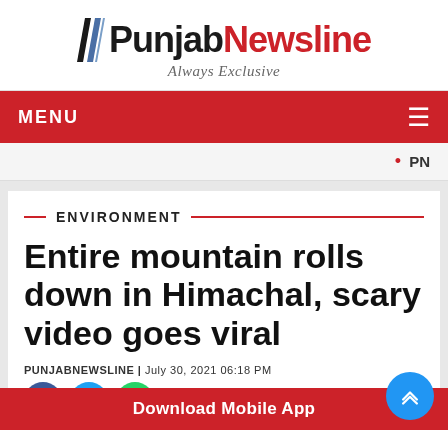[Figure (logo): PunjabNewsline logo with two diagonal blue/gray stripes icon and red and black text reading 'PunjabNewsline', with italic tagline 'Always Exclusive' below]
MENU  ☰
• PM
ENVIRONMENT
Entire mountain rolls down in Himachal, scary video goes viral
PUNJABNEWSLINE | July 30, 2021 06:18 PM
Download Mobile App